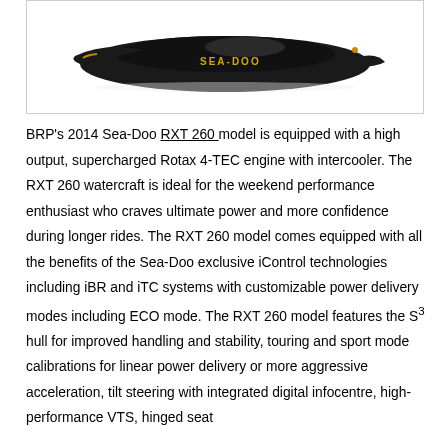[Figure (photo): A black Sea-Doo RXT 260 watercraft/jet ski shown from above against a white background, with the Sea-Doo logo visible on the hull in gold text.]
BRP's 2014 Sea-Doo RXT 260 model is equipped with a high output, supercharged Rotax 4-TEC engine with intercooler. The RXT 260 watercraft is ideal for the weekend performance enthusiast who craves ultimate power and more confidence during longer rides. The RXT 260 model comes equipped with all the benefits of the Sea-Doo exclusive iControl technologies including iBR and iTC systems with customizable power delivery modes including ECO mode. The RXT 260 model features the S³ hull for improved handling and stability, touring and sport mode calibrations for linear power delivery or more aggressive acceleration, tilt steering with integrated digital infocentre, high-performance VTS, hinged seat